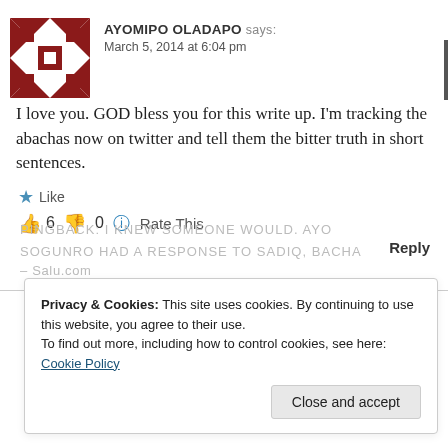[Figure (illustration): Decorative avatar: geometric dark red/maroon pattern on white background, square format]
AYOMIPO OLADAPO says:
March 5, 2014 at 6:04 pm
I love you. GOD bless you for this write up. I'm tracking the abachas now on twitter and tell them the bitter truth in short sentences.
★ Like
👍 6 👎 0 ℹ Rate This
Reply
Privacy & Cookies: This site uses cookies. By continuing to use this website, you agree to their use.
To find out more, including how to control cookies, see here: Cookie Policy
Close and accept